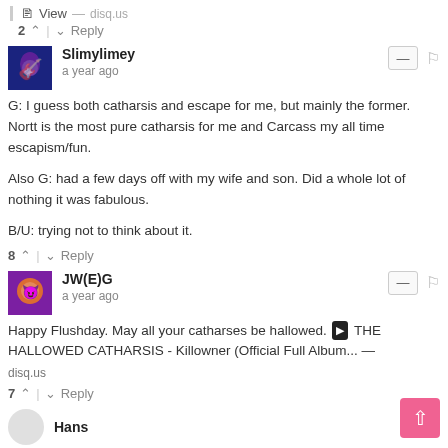View — disq.us
2 ^ | v Reply
Slimylimey
a year ago
G: I guess both catharsis and escape for me, but mainly the former. Nortt is the most pure catharsis for me and Carcass my all time escapism/fun.

Also G: had a few days off with my wife and son. Did a whole lot of nothing it was fabulous.

B/U: trying not to think about it.
8 ^ | v Reply
JW(E)G
a year ago
Happy Flushday. May all your catharses be hallowed. THE HALLOWED CATHARSIS - Killowner (Official Full Album... — disq.us
7 ^ | v Reply
Hans